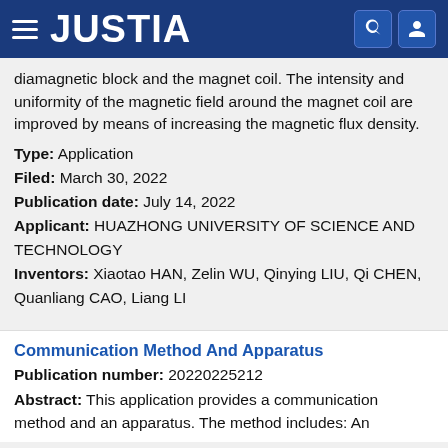JUSTIA
diamagnetic block and the magnet coil. The intensity and uniformity of the magnetic field around the magnet coil are improved by means of increasing the magnetic flux density.
Type: Application
Filed: March 30, 2022
Publication date: July 14, 2022
Applicant: HUAZHONG UNIVERSITY OF SCIENCE AND TECHNOLOGY
Inventors: Xiaotao HAN, Zelin WU, Qinying LIU, Qi CHEN, Quanliang CAO, Liang LI
Communication Method And Apparatus
Publication number: 20220225212
Abstract: This application provides a communication method and an apparatus. The method includes: An